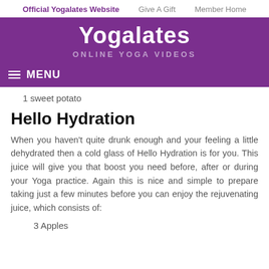Official Yogalates Website   Give A Gift   Member Home
[Figure (logo): Yogalates website header banner with purple background showing 'Yogalates' in large white bold text and 'ONLINE YOGA VIDEOS' subtitle in grey/lavender text, with a MENU bar below]
1 sweet potato
Hello Hydration
When you haven't quite drunk enough and your feeling a little dehydrated then a cold glass of Hello Hydration is for you. This juice will give you that boost you need before, after or during your Yoga practice. Again this is nice and simple to prepare taking just a few minutes before you can enjoy the rejuvenating juice, which consists of:
3 Apples